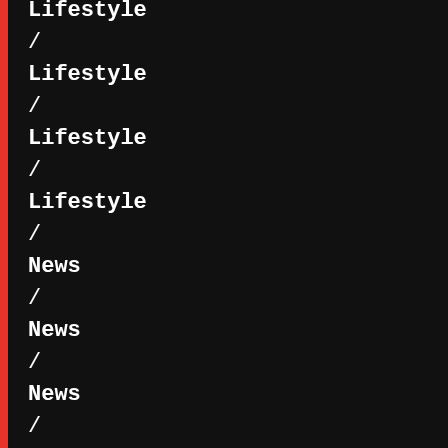Lifestyle
/
Lifestyle
/
Lifestyle
/
Lifestyle
/
News
/
News
/
News
/
News
/
News
/
News